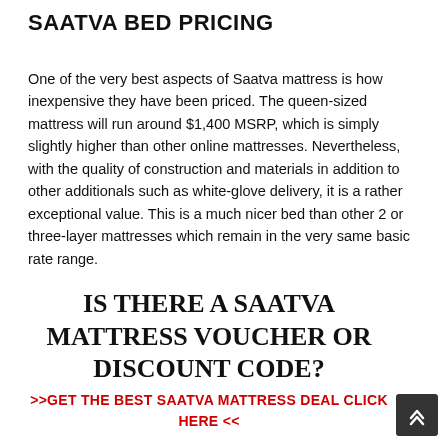SAATVA BED PRICING
One of the very best aspects of Saatva mattress is how inexpensive they have been priced. The queen-sized mattress will run around $1,400 MSRP, which is simply slightly higher than other online mattresses. Nevertheless, with the quality of construction and materials in addition to other additionals such as white-glove delivery, it is a rather exceptional value. This is a much nicer bed than other 2 or three-layer mattresses which remain in the very same basic rate range.
IS THERE A SAATVA MATTRESS VOUCHER OR DISCOUNT CODE?
>>GET THE BEST SAATVA MATTRESS DEAL CLICK HERE <<